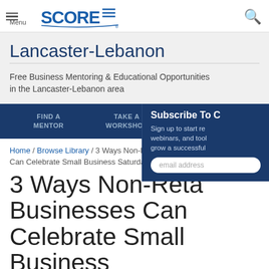SCORE — Menu / Search
Lancaster-Lebanon
Free Business Mentoring & Educational Opportunities in the Lancaster-Lebanon area
FIND A MENTOR
TAKE A WORKSHOP
Subscribe To C — Sign up to start re webinars, and tool grow a successful — email address
Home / Browse Library / 3 Ways Non-Ret Can Celebrate Small Business Saturday
3 Ways Non-Retail Businesses Can Celebrate Small Business Saturday